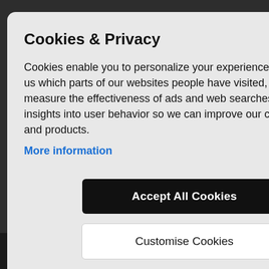Cookies & Privacy
Cookies enable you to personalize your experience on our site, tell us which parts of our websites people have visited, help us measure the effectiveness of ads and web searches, and give us insights into user behavior so we can improve our communications and products.
More information
Accept All Cookies
Customise Cookies